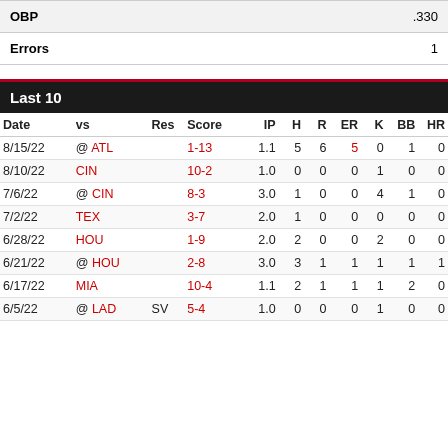|  |  |
| --- | --- |
| OBP | .330 |
| Errors | 1 |
Last 10
| Date | vs | Res | Score | IP | H | R | ER | K | BB | HR |
| --- | --- | --- | --- | --- | --- | --- | --- | --- | --- | --- |
| 8/15/22 | @ ATL |  | 1-13 | 1.1 | 5 | 6 | 5 | 0 | 1 | 0 |
| 8/10/22 | CIN |  | 10-2 | 1.0 | 0 | 0 | 0 | 1 | 0 | 0 |
| 7/6/22 | @ CIN |  | 8-3 | 3.0 | 1 | 0 | 0 | 4 | 1 | 0 |
| 7/2/22 | TEX |  | 3-7 | 2.0 | 1 | 0 | 0 | 0 | 0 | 0 |
| 6/28/22 | HOU |  | 1-9 | 2.0 | 2 | 0 | 0 | 2 | 0 | 0 |
| 6/21/22 | @ HOU |  | 2-8 | 3.0 | 3 | 1 | 1 | 1 | 1 | 1 |
| 6/17/22 | MIA |  | 10-4 | 1.1 | 2 | 1 | 1 | 1 | 2 | 0 |
| 6/5/22 | @ LAD | SV | 5-4 | 1.0 | 0 | 0 | 0 | 1 | 0 | 0 |